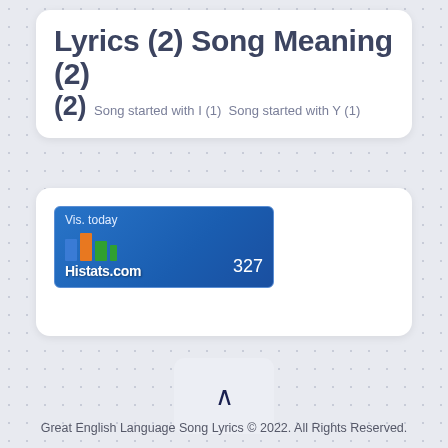Lyrics (2) Song Meaning (2) Song started with I (1) Song started with Y (1)
[Figure (other): Histats.com widget showing 'Vis. today' counter with value 327, with bar chart icon and Histats.com branding on a blue gradient background]
Great English Language Song Lyrics © 2022. All Rights Reserved.